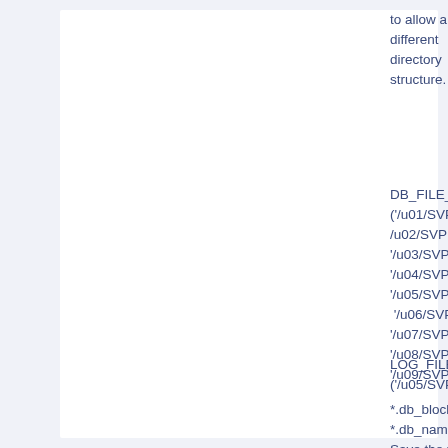to allow a different directory structure.
DB_FILE_NAME_CONVERT=('/u01/SVPRD1B/,'/u02/SVPRD1B/','/u03/SVPRD1B/','/u04/SVPRD1B/','/u05/SVPRD1B/', '/u06/SVPRD1B/','/u07/SVPRD1B/','/u08/SVPRD1B/','/u09/SVPRD1B/'
LOG_FILE_NAME_CONVERT=('/u05/SVPRD1B/
*.db_block_size=
*.db_name='DUF
Save the file